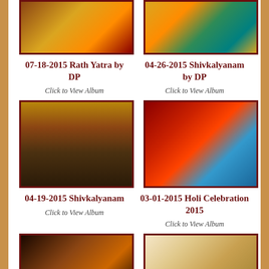[Figure (photo): Top left photo - religious/cultural event with people in traditional attire]
[Figure (photo): Top right photo - deity with colorful decorations]
07-18-2015 Rath Yatra by DP
Click to View Album
04-26-2015 Shivkalyanam by DP
Click to View Album
[Figure (photo): Crowd gathered inside temple for ceremony]
[Figure (photo): Child with blue face paint - Holi celebration]
04-19-2015 Shivkalyanam
Click to View Album
03-01-2015 Holi Celebration 2015
Click to View Album
[Figure (photo): People in traditional/costume attire in dark setting]
[Figure (photo): Classroom or meeting setting with people seated]